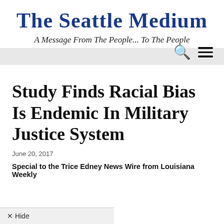The Seattle Medium
A Message From The People... To The People
Study Finds Racial Bias Is Endemic In Military Justice System
June 20, 2017
Special to the Trice Edney News Wire from Louisiana Weekly